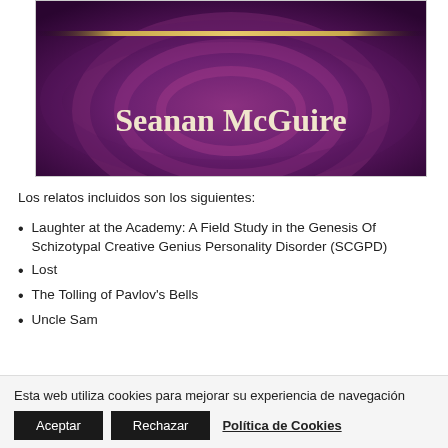[Figure (illustration): Book cover image showing 'Seanan McGuire' author name in decorative serif font over a swirling purple/dark background with ornamental gold stripe. Partial cover showing lower portion.]
Los relatos incluidos son los siguientes:
Laughter at the Academy: A Field Study in the Genesis Of Schizotypal Creative Genius Personality Disorder (SCGPD)
Lost
The Tolling of Pavlov's Bells
Uncle Sam
Esta web utiliza cookies para mejorar su experiencia de navegación
Aceptar | Rechazar | Política de Cookies